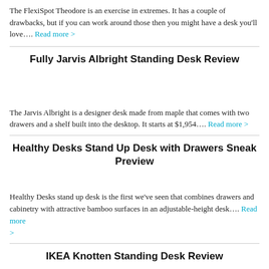The FlexiSpot Theodore is an exercise in extremes. It has a couple of drawbacks, but if you can work around those then you might have a desk you'll love…. Read more >
Fully Jarvis Albright Standing Desk Review
The Jarvis Albright is a designer desk made from maple that comes with two drawers and a shelf built into the desktop. It starts at $1,954…. Read more >
Healthy Desks Stand Up Desk with Drawers Sneak Preview
Healthy Desks stand up desk is the first we've seen that combines drawers and cabinetry with attractive bamboo surfaces in an adjustable-height desk…. Read more >
IKEA Knotten Standing Desk Review
The IKEA Knotten is great at what it is: A piece of furniture designed for storage in a